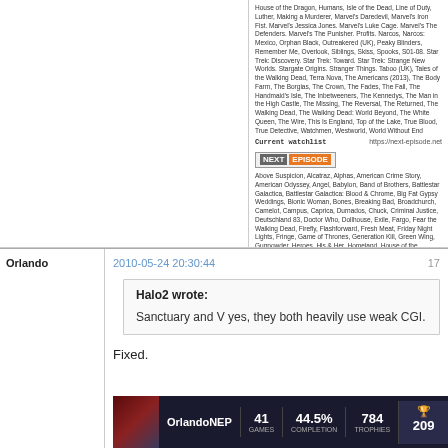House of the Dragon, Humans, Isle of the Dead, Line of Duty, Luther, Making a Murderer, Marvel's Daredevil, Marvel's Iron Fist, Marvel's Jessica Jones, Marvel's Luke Cage, Marvel's The Defenders, Marvel's The Punisher, Profits, Narcos, Narcos: Mexico, Orphan Black, Outsourced (UK), Peaky Blinders, Remember Me, Overlook, Siblings, Skiss, Spooks, S01-08, Star Trek: Discovery, Star Trek: Toward, Star Trek: Strange New Worlds, Stargate Origins, Stranger Things, Taboo (UK), Tales of the Walking Dead, Terra Nova, The Americans (2013), The Body Farm, The Borgias, The Crown, The Fades, The Fall, The Handmaid's Tale, The Inbetweeners, The Kennedys, The Man in the High Castle, The Missing, The Reversal, The O.C., The Pacific, The Pillars of the Earth, The Prisoner, The Returned, The Walking Dead, The Walking Dead: World Beyond, The White Queen, The Wire, This Is England, Top of the Lake, True Blood, True Detective, Watchmen, Westworld, World Without End
Current watchlist    https://next-episode.net
[Figure (screenshot): NEXT EPISODE button logo in grey and orange]
Above Suspicion, Alcatraz, Alphas, American Crime Story, American Odyssey, Angel, Babylon, Band of Brothers, Battlestar Galactica, Battlestar Galactica: Blood & Chrome, Big Fat Gypsy Weddings, Bionic Woman, Bones, Breaking Bad, Broadchurch, Camelot, Campus, Caprica, Durnados, Chuck, Criminal Justice, Deutschland 83, Doctor Who, Dollhouse, Exile, Fargo, Fear the Walking Dead, Firefly, Flashforward, Fresh Meat, Friday Night Lights, Fringe, Game of Thrones, Generation Kill, Green Wing, Gunpowder, Heroes, His & Her, Homeland, House of the Dragon, Humans, Isle of the Dead, Jonathan Creek, Journeyman, Kidnap and Ransom, Knight Rider, Life, Line of Duty, Lost, Luther, Making a Murderer, Marvel's Daredevil, Marvel's Iron Fist, Marvel's Jessica Jones, Marvel's Luke Cage, Marvel's The Defenders, Marvel's The Punisher, Merlin, Misfits, Narcos, Narcos: Mexico, New Amsterdam, Orphan Black, Outnants, Outreakered (UK), Peaky Blinders, Primeval, Prison Break, Remember Me, Sanctuary, Sherlock, Siblings, Skiss, Spooks, S1-08, Star Trek: Discovery, Star Trek: Picard, Star Trek: Strange New Worlds, Stargate Atlantis, Stargate Origins, Stargate SG-1, Stargate Universe, Stranger Things, Taboo (UK), Tales of the Walking Dead, Terminator: The Sarah Connor Chronicles, Terra Nova, The Americans (2013), The Body Farm, The Borgias, The Cape, The Crown, The Fades, The Fall, The Handmaid's Tale, The Inbetweeners, The Kennedys, The Man in the High Castle, The Missing, The Reversal, The O.C., The Pacific, The Pillars of the Earth, The Prisoner, The Returned, The Walking Dead, The Walking Dead: World Beyond, The White Queen, The Wire, This Is England, Top of the Lake, Torchwood, True Blood, True Detective, V, Waking the Dead, Watchmen, Westworld, World Without End
I Watch Stuff    https://next-episode.net
[Figure (illustration): Grinning smiley face emoji]
Orlando
2010-05-24 20:30:44
17
Halo2 wrote:
Sanctuary and V yes, they both heavily use weak CGI.
Fixed.
[Figure (screenshot): OrlandoNEP gaming profile banner showing 41 GAMES, 44.5% COMPLETION, 784 TROPHIES, 209 points]